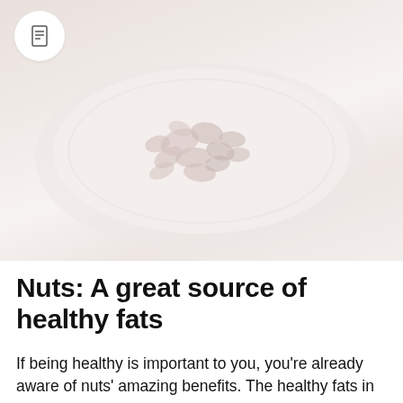[Figure (photo): A plate of mixed nuts photographed from above on a light background, with soft muted tones giving an airy, health-focused aesthetic.]
Nuts: A great source of healthy fats
If being healthy is important to you, you're already aware of nuts' amazing benefits. The healthy fats in these powerful little